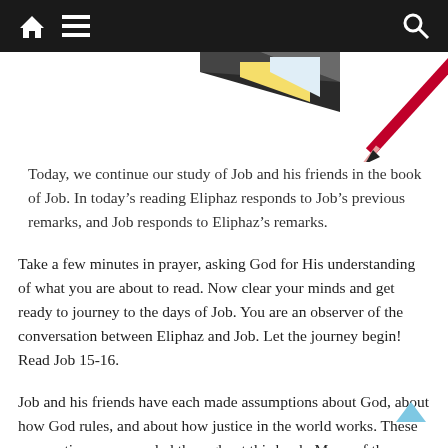Navigation bar with home, menu, and search icons
[Figure (illustration): Partial illustration of books and a pink/red pencil against a white background]
Today, we continue our study of Job and his friends in the book of Job. In today’s reading Eliphaz responds to Job’s previous remarks, and Job responds to Eliphaz’s remarks.
Take a few minutes in prayer, asking God for His understanding of what you are about to read. Now clear your minds and get ready to journey to the days of Job. You are an observer of the conversation between Eliphaz and Job. Let the journey begin! Read Job 15-16.
Job and his friends have each made assumptions about God, about how God rules, and about how justice in the world works. These assumptions are revealed throughout this book. Many of these assumptions continue to be held today!